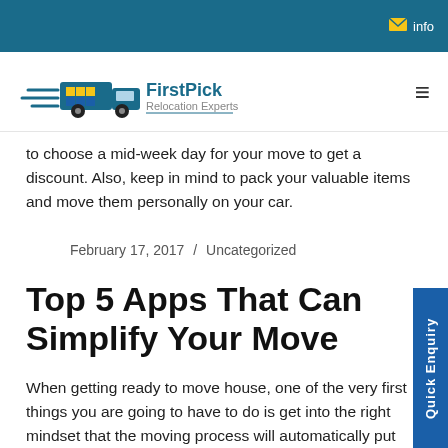info
[Figure (logo): FirstPick Relocation Experts logo with moving truck icon]
to choose a mid-week day for your move to get a discount. Also, keep in mind to pack your valuable items and move them personally on your car.
February 17, 2017 / Uncategorized
Top 5 Apps That Can Simplify Your Move
When getting ready to move house, one of the very first things you are going to have to do is get into the right mindset that the moving process will automatically put you in. Get your brain ready to grasp and calmly embrace